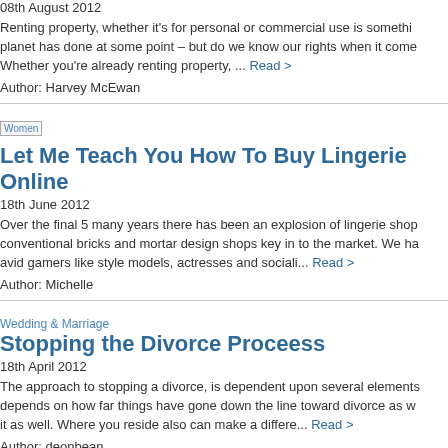08th August 2012
Renting property, whether it's for personal or commercial use is something almost everyone on the planet has done at some point – but do we know our rights when it comes to renting? Whether you're already renting property, ... Read >
Author: Harvey McEwan
[Figure (photo): Small thumbnail image labeled 'Women']
Let Me Teach You How To Buy Lingerie Online
18th June 2012
Over the final 5 many years there has been an explosion of lingerie shops as well as conventional bricks and mortar design shops key in to the market. We have seen avid gamers like style models, actresses and sociali... Read >
Author: Michelle
Wedding & Marriage
Stopping the Divorce Proceess
18th April 2012
The approach to stopping a divorce, is dependent upon several elements, and it depends on how far things have gone down the line toward divorce as well as viewing it as well. Where you reside also can make a differe... Read >
Author: deonbean